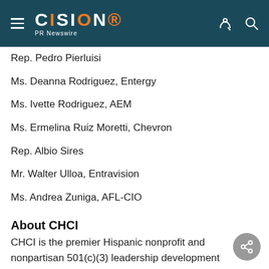CISION PR Newswire
Rep. Pedro Pierluisi
Ms. Deanna Rodriguez, Entergy
Ms. Ivette Rodriguez, AEM
Ms. Ermelina Ruiz Moretti, Chevron
Rep. Albio Sires
Mr. Walter Ulloa, Entravision
Ms. Andrea Zuniga, AFL-CIO
About CHCI
CHCI is the premier Hispanic nonprofit and nonpartisan 501(c)(3) leadership development organization in the country that educates, empowers, and connects Latino youth by providing leadership development programs and educational services